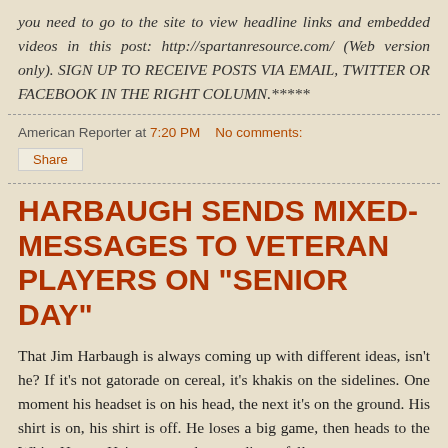you need to go to the site to view headline links and embedded videos in this post: http://spartanresource.com/ (Web version only). SIGN UP TO RECEIVE POSTS VIA EMAIL, TWITTER OR FACEBOOK IN THE RIGHT COLUMN.*****
American Reporter at 7:20 PM   No comments:
Share
HARBAUGH SENDS MIXED-MESSAGES TO VETERAN PLAYERS ON "SENIOR DAY"
That Jim Harbaugh is always coming up with different ideas, isn't he? If it's not gatorade on cereal, it's khakis on the sidelines. One moment his headset is on his head, the next it's on the ground. His shirt is on, his shirt is off. He loses a big game, then heads to the White House. He's not exactly an ordinary fellow.